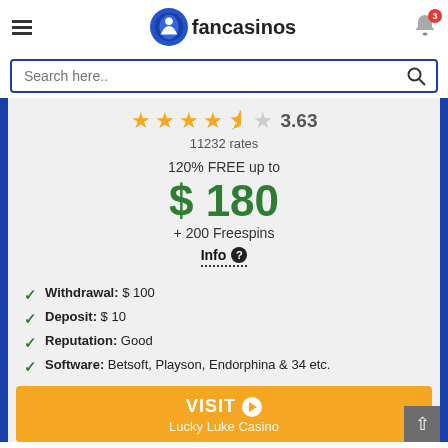fancasinos
Search here..
3.63
11232 rates
120% FREE up to
$ 180
+ 200 Freespins
Info
Withdrawal: $ 100
Deposit: $ 10
Reputation: Good
Software: Betsoft, Playson, Endorphina & 34 etc.
VISIT
Lucky Luke Casino